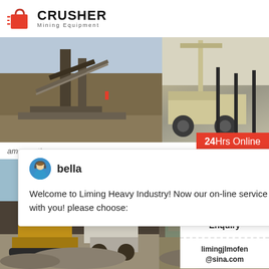[Figure (logo): CRUSHER Mining Equipment logo with red shopping bag icon and bold text]
[Figure (photo): Mining/crushing plant equipment in outdoor setting - left photo]
[Figure (photo): Mobile crushing equipment/crane on site - right photo]
among others
24Hrs Online
bella
Welcome to Liming Heavy Industry! Now our online service is chatting with you! please choose:
[Figure (photo): Excavator and mobile crusher working at quarry/mine site - bottom left]
[Figure (photo): Crusher/conveyor equipment at mining site - bottom right]
Need & suggestions
1
Chat Now
Enquiry
limingjlmofen@sina.com